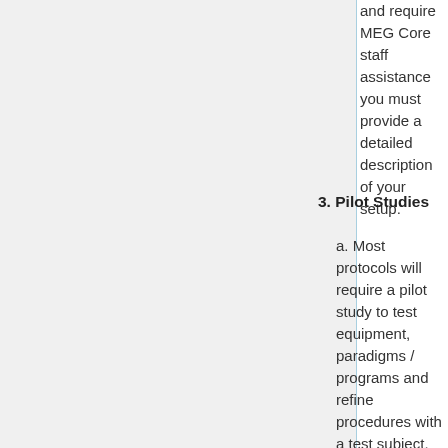and require MEG Core staff assistance you must provide a detailed description of your setup.
3. Pilot Studies
a. Most protocols will require a pilot study to test equipment, paradigms / programs and refine procedures with a test subject. Users must provide their